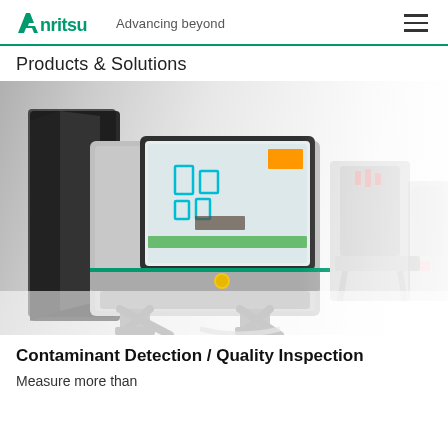Anritsu Advancing beyond
Products & Solutions
[Figure (photo): Industrial X-ray inspection machine / contaminant detection equipment by Anritsu, showing a large stainless steel unit with a touchscreen display showing colorful detection readouts. Additional blurred inspection machines visible in the background on a white surface.]
Contaminant Detection / Quality Inspection
Measure more than...